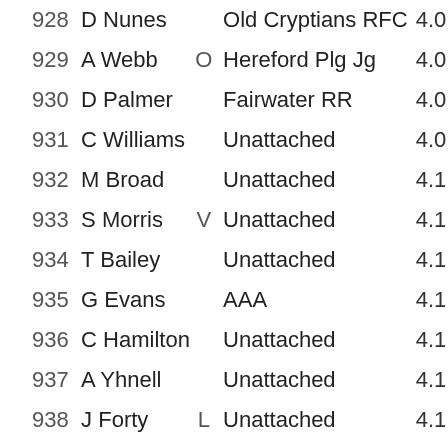| # | Name | Cat | Club | Score |
| --- | --- | --- | --- | --- |
| 928 | D Nunes |  | Old Cryptians RFC | 4.0 |
| 929 | A Webb | O | Hereford Plg Jg | 4.0 |
| 930 | D Palmer |  | Fairwater RR | 4.0 |
| 931 | C Williams |  | Unattached | 4.0 |
| 932 | M Broad |  | Unattached | 4.1 |
| 933 | S Morris | V | Unattached | 4.1 |
| 934 | T Bailey |  | Unattached | 4.1 |
| 935 | G Evans |  | AAA | 4.1 |
| 936 | C Hamilton |  | Unattached | 4.1 |
| 937 | A Yhnell |  | Unattached | 4.1 |
| 938 | J Forty | L | Unattached | 4.1 |
| 939 | J Lewis | V | Unattached | 4.1 |
| 940 | J Tweedale | V | Unattached | 4.1 |
| 941 | N Hodges |  | Unattached | 4.1 |
| 942 | A E... |  | U... | 4. |